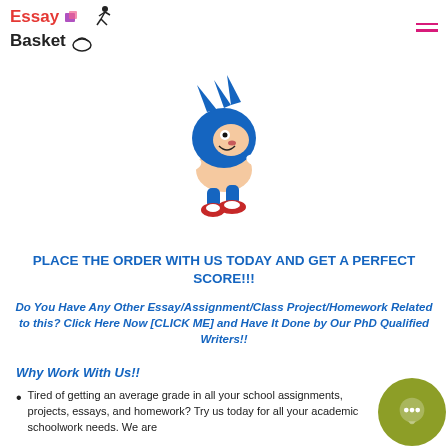[Figure (logo): EssayBasket logo with running figure and basket icon, red and black text]
[Figure (illustration): Sonic the Hedgehog cartoon character running]
PLACE THE ORDER WITH US TODAY AND GET A PERFECT SCORE!!!
Do You Have Any Other Essay/Assignment/Class Project/Homework Related to this? Click Here Now [CLICK ME] and Have It Done by Our PhD Qualified Writers!!
Why Work With Us!!
Tired of getting an average grade in all your school assignments, projects, essays, and homework? Try us today for all your academic schoolwork needs. We are